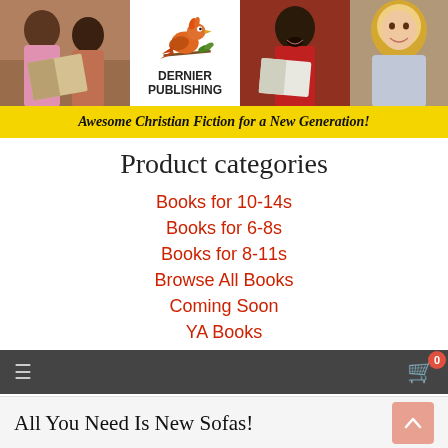[Figure (illustration): Dernier Publishing banner with photos of children reading, a cartoon bird logo, publisher name, and yellow tagline stripe reading 'Awesome Christian Fiction for a New Generation!']
Product categories
Books for 10-14s
Books for 6-8s
Books for 8-11s
Browse All Books
Coming Soon
YA Books
[Figure (screenshot): Dark navigation bar with hamburger menu icon on left and shopping cart icon with badge showing 0 on right]
All You Need Is New Sofas!